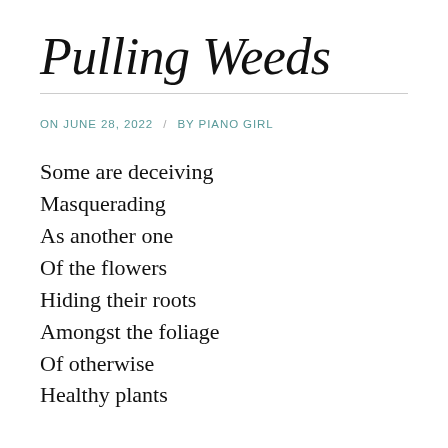Pulling Weeds
ON JUNE 28, 2022 / BY PIANO GIRL
Some are deceiving
Masquerading
As another one
Of the flowers
Hiding their roots
Amongst the foliage
Of otherwise
Healthy plants